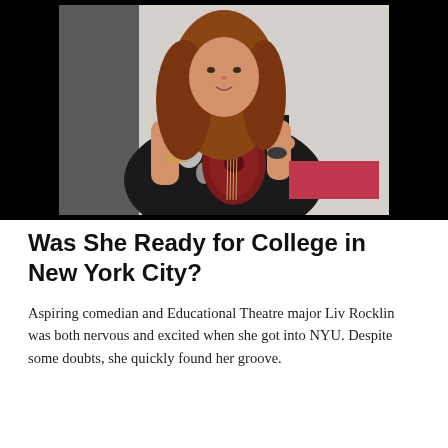[Figure (photo): A young woman with curly reddish-brown hair wearing a black floral dress plays a dark red ukulele. She is photographed against a light gray background. The photo is set against a black background frame. A pink/red rectangular block appears in the lower right corner of the image area.]
Was She Ready for College in New York City?
Aspiring comedian and Educational Theatre major Liv Rocklin was both nervous and excited when she got into NYU. Despite some doubts, she quickly found her groove.